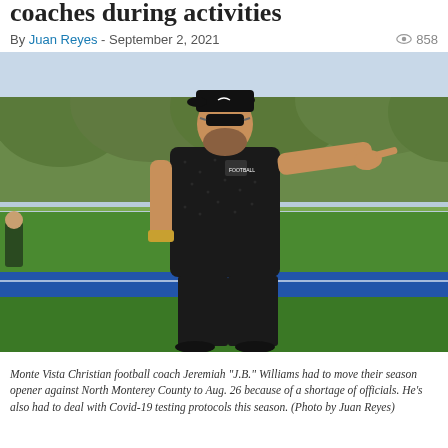coaches during activities
By Juan Reyes - September 2, 2021  858
[Figure (photo): Monte Vista Christian football coach Jeremiah 'J.B.' Williams on a football field, wearing a dark patterned polo shirt, cap and sunglasses, pointing/gesturing with his right arm extended outward. Green turf field and blue track visible in background, trees in distance.]
Monte Vista Christian football coach Jeremiah "J.B." Williams had to move their season opener against North Monterey County to Aug. 26 because of a shortage of officials. He's also had to deal with Covid-19 testing protocols this season. (Photo by Juan Reyes)